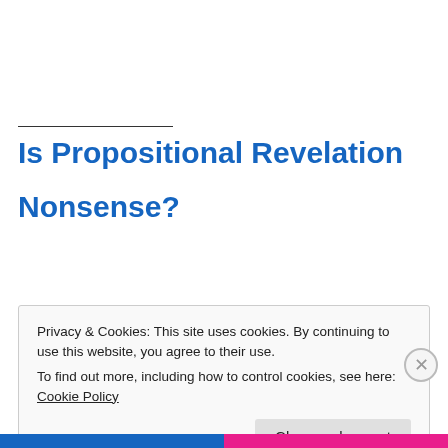Is Propositional Revelation Nonsense?
Privacy & Cookies: This site uses cookies. By continuing to use this website, you agree to their use.
To find out more, including how to control cookies, see here: Cookie Policy
Close and accept